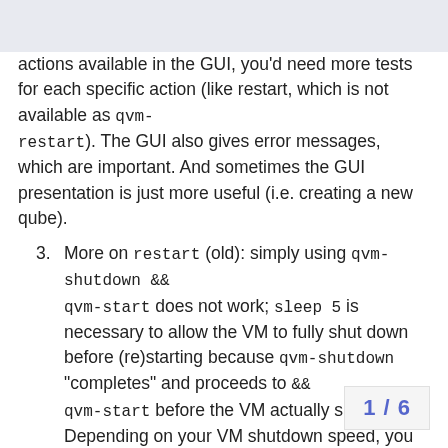actions available in the GUI, you'd need more tests for each specific action (like restart, which is not available as qvm-restart). The GUI also gives error messages, which are important. And sometimes the GUI presentation is just more useful (i.e. creating a new qube).
3. More on restart (old): simply using qvm-shutdown && qvm-start does not work; sleep 5 is necessary to allow the VM to fully shut down before (re)starting because qvm-shutdown "completes" and proceeds to && qvm-start before the VM actually shuts down. Depending on your VM shutdown speed, you may need to sleep a longer time.
Edit: sleep was removed and --wait flag was added (see comment below).
4. I use [ -z "$SELECTED_VM" ] & dmenu receives no input for the VM